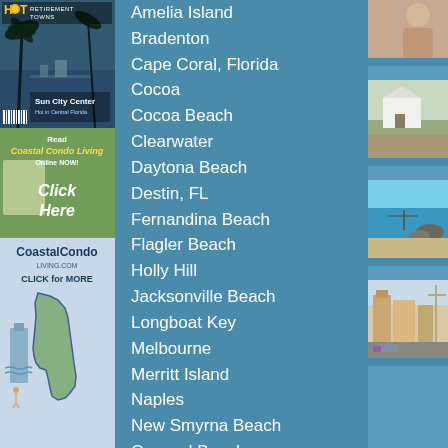[Figure (photo): HOT Retirement Towns magazine cover showing marina/palm trees, Sun City Center feature]
[Figure (photo): Coastal Condo Living advertisement - Read Coastal Condo Living Online NOW! Click Here]
[Figure (photo): CoastalCondo Living.com advertisement with map of Florida/Southeast coast, CLICK for MORE]
Amelia Island
Bradenton
Cape Coral, Florida
Cocoa
Cocoa Beach
Clearwater
Daytona Beach
Destin, FL
Fernandina Beach
Flagler Beach
Holly Hill
Jacksonville Beach
Longboat Key
Melbourne
Merritt Island
Naples
New Smyrna Beach
Ormond Beach
Palm Coast
Panama City
Pensacola
Pensacola Beach, FL
Rockledge
Sarasota
St. Petersburg
[Figure (photo): Person photo (partial, top right)]
[Figure (photo): Barn/white building photo]
[Figure (photo): Beach/coastal water photo]
[Figure (photo): City/urban street photo]